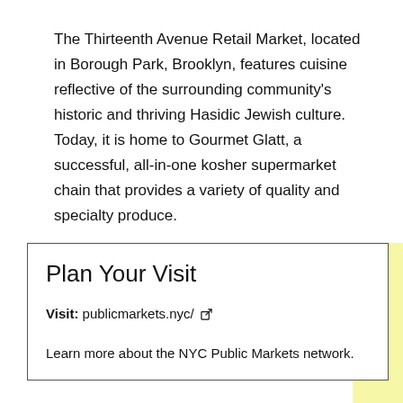The Thirteenth Avenue Retail Market, located in Borough Park, Brooklyn, features cuisine reflective of the surrounding community's historic and thriving Hasidic Jewish culture. Today, it is home to Gourmet Glatt, a successful, all-in-one kosher supermarket chain that provides a variety of quality and specialty produce.
Plan Your Visit
Visit: publicmarkets.nyc/
Learn more about the NYC Public Markets network.